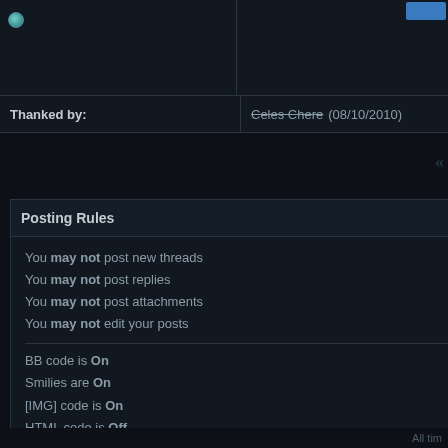| Thanked by: | Celes Chere (08/10/2010) |
| --- | --- |
Posting Rules
You may not post new threads
You may not post replies
You may not post attachments
You may not edit your posts
BB code is On
Smilies are On
[IMG] code is On
HTML code is Off
Forum Rules